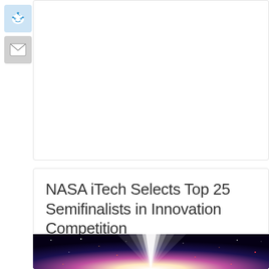[Figure (logo): Reddit alien logo icon on light blue background]
[Figure (logo): Email/envelope icon on gray background]
NASA iTech Selects Top 25 Semifinalists in Innovation Competition
November 28, 2017 | News | 0 Comments
[Figure (photo): Space/galaxy image with bright light beam and colorful stars]